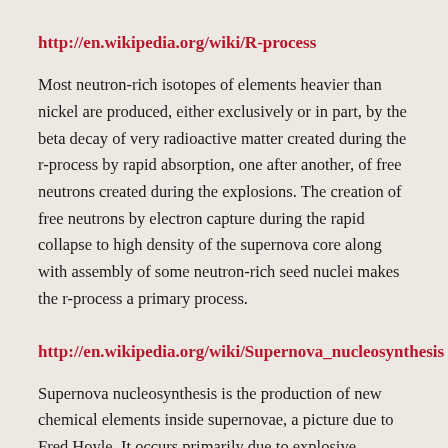http://en.wikipedia.org/wiki/R-process
Most neutron-rich isotopes of elements heavier than nickel are produced, either exclusively or in part, by the beta decay of very radioactive matter created during the r-process by rapid absorption, one after another, of free neutrons created during the explosions. The creation of free neutrons by electron capture during the rapid collapse to high density of the supernova core along with assembly of some neutron-rich seed nuclei makes the r-process a primary process.
http://en.wikipedia.org/wiki/Supernova_nucleosynthesis
Supernova nucleosynthesis is the production of new chemical elements inside supernovae, a picture due to Fred Hoyle. It occurs primarily due to explosive nucleosynthesis